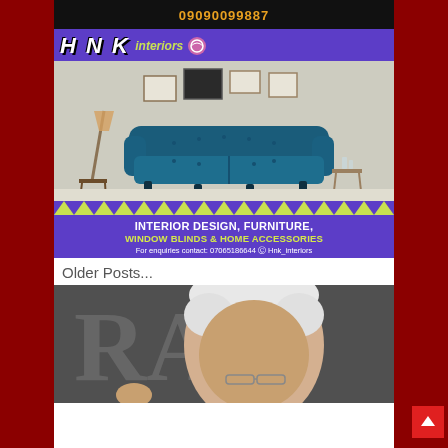09090099887
[Figure (photo): HNK Interiors advertisement banner featuring logo, a tufted blue Chesterfield sofa in a styled living room, zigzag pattern divider, and text: INTERIOR DESIGN, FURNITURE, WINDOW BLINDS & HOME ACCESSORIES. For enquiries contact: 07065186644 Hnk_interiors]
Older Posts...
[Figure (photo): Photo of an elderly white-haired man with glasses gesturing, with large blurred letters in the background]